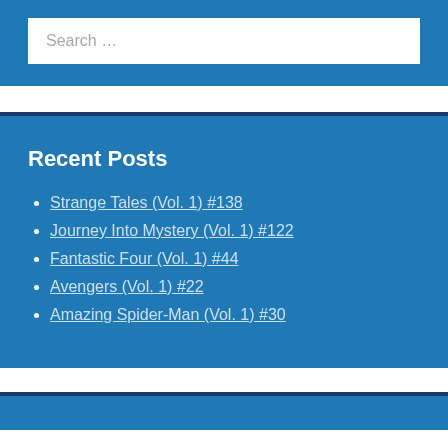Search …
Recent Posts
Strange Tales (Vol. 1) #138
Journey Into Mystery (Vol. 1) #122
Fantastic Four (Vol. 1) #44
Avengers (Vol. 1) #22
Amazing Spider-Man (Vol. 1) #30